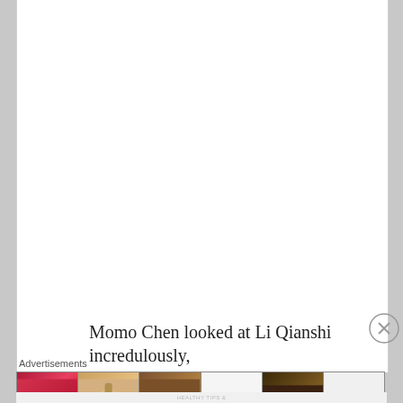[Figure (illustration): Large white blank content area representing a web page article body]
Momo Chen looked at Li Qianshi incredulously,
[Figure (infographic): Advertisements banner with label 'Advertisements' above. Contains beauty product ad images: red lips with brush, makeup brush, eye with dramatic makeup, ULTA Beauty logo, eyes with heavy eyeliner, and SHOP NOW call to action button.]